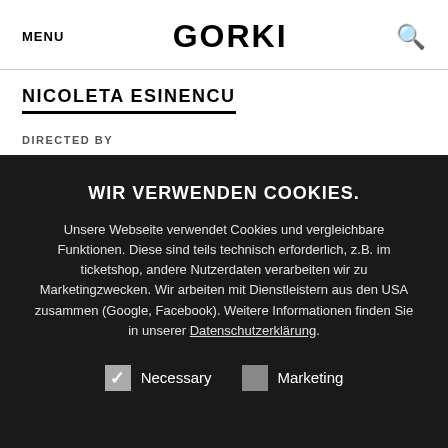MENU | GORKI | 🔍
NICOLETA ESINENCU
DIRECTED BY
WIR VERWENDEN COOKIES.
Unsere Webseite verwendet Cookies und vergleichbare Funktionen. Diese sind teils technisch erforderlich, z.B. im ticketshop, andere Nutzerdaten verarbeiten wir zu Marketingzwecken. Wir arbeiten mit Dienstleistern aus den USA zusammen (Google, Facebook). Weitere Informationen finden Sie in unserer Datenschutzerklärung.
Necessary (checked)
Marketing (unchecked)